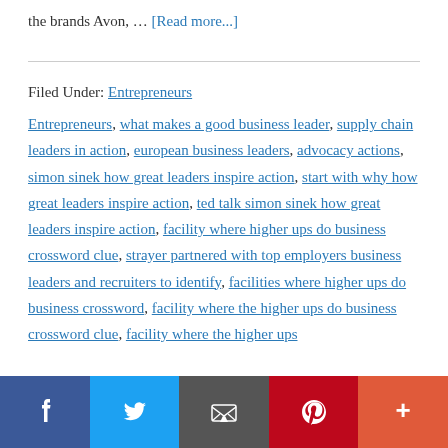the brands Avon, … [Read more...]
Filed Under: Entrepreneurs
Entrepreneurs, what makes a good business leader, supply chain leaders in action, european business leaders, advocacy actions, simon sinek how great leaders inspire action, start with why how great leaders inspire action, ted talk simon sinek how great leaders inspire action, facility where higher ups do business crossword clue, strayer partnered with top employers business leaders and recruiters to identify, facilities where higher ups do business crossword, facility where the higher ups do business crossword clue, facility where the higher ups
[Figure (infographic): Social media sharing bar with Facebook, Twitter, Email, Pinterest, and More (+) buttons]